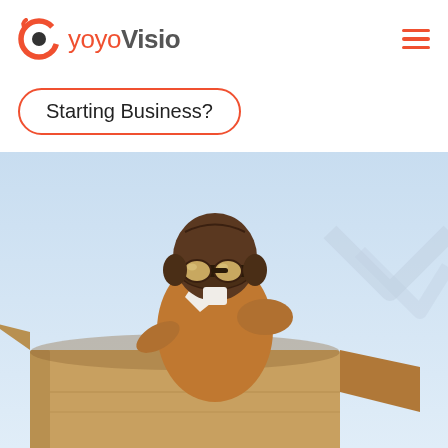yoyoVisio
Starting Business?
[Figure (photo): A child dressed in a vintage leather aviator jacket and helmet with goggles, leaning forward inside a cardboard box decorated to look like an airplane, against a light blue background with a faint mountain/chevron watermark. The scene evokes entrepreneurial spirit and starting a business.]